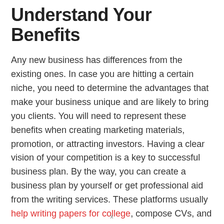Understand Your Benefits
Any new business has differences from the existing ones. In case you are hitting a certain niche, you need to determine the advantages that make your business unique and are likely to bring you clients. You will need to represent these benefits when creating marketing materials, promotion, or attracting investors. Having a clear vision of your competition is a key to successful business plan. By the way, you can create a business plan by yourself or get professional aid from the writing services. These platforms usually help writing papers for college, compose CVs, and are able to handle writing a business plan of any complexity. These services can also offer online business
x